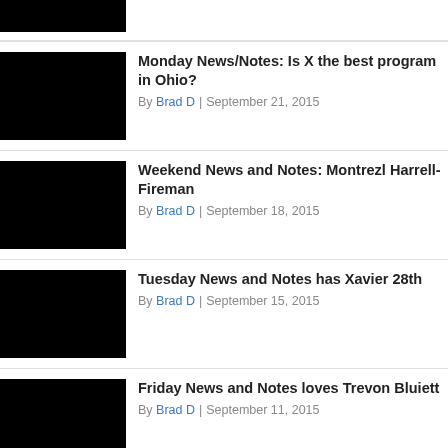[Figure (photo): Partially visible black thumbnail image at top]
Monday News/Notes: Is X the best program in Ohio?
By Brad D | September 21, 2015
[Figure (photo): Black thumbnail image]
Weekend News and Notes: Montrezl Harrell- Fireman
By Brad D | September 18, 2015
[Figure (photo): Black thumbnail image]
Tuesday News and Notes has Xavier 28th
By Brad D | September 15, 2015
[Figure (photo): Black thumbnail image]
Friday News and Notes loves Trevon Bluiett
By Brad D | September 11, 2015